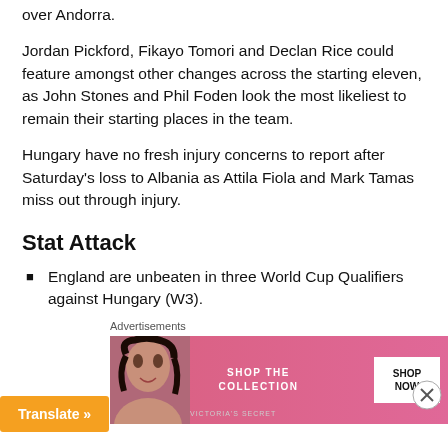over Andorra.
Jordan Pickford, Fikayo Tomori and Declan Rice could feature amongst other changes across the starting eleven, as John Stones and Phil Foden look the most likeliest to remain their starting places in the team.
Hungary have no fresh injury concerns to report after Saturday’s loss to Albania as Attila Fiola and Mark Tamas miss out through injury.
Stat Attack
England are unbeaten in three World Cup Qualifiers against Hungary (W3).